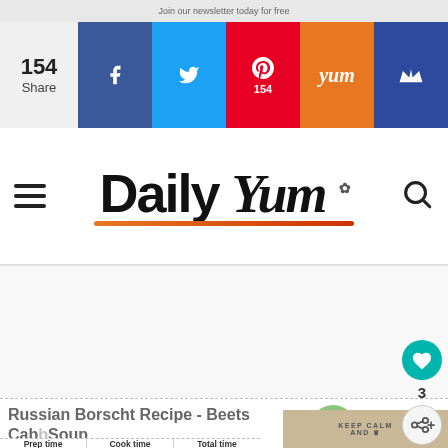Join our newsletter today for free
[Figure (screenshot): Social share bar with Facebook, Twitter, Pinterest, Yummly, and crown buttons. Share count: 154. Pinterest shows 154 pins.]
[Figure (logo): Daily Yum logo with hamburger menu and search icon]
[Figure (other): Advertisement space (blank)]
[Figure (other): Floating action buttons: teal heart icon with count 3, and share icon]
Russian Borscht Recipe - Beets Cab__ Soup
[Figure (other): What's Next panel showing Simple Healthy Gre... with a round green smoothie image]
| Prep time | Cook time | Total time |
| --- | --- | --- |
[Figure (photo): Recipe food photo showing a bowl with KEEP CALM AND... text on it]